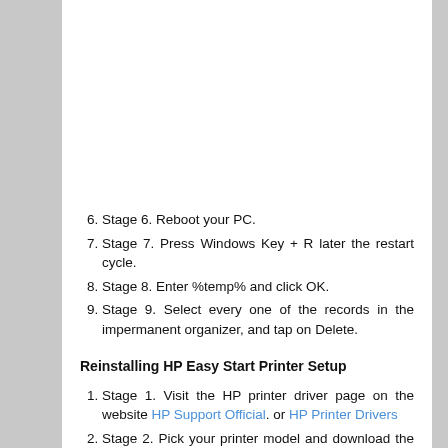Stage 6. Reboot your PC.
Stage 7. Press Windows Key + R later the restart cycle.
Stage 8. Enter %temp% and click OK.
Stage 9. Select every one of the records in the impermanent organizer, and tap on Delete.
Reinstalling HP Easy Start Printer Setup
Stage 1. Visit the HP printer driver page on the website HP Support Official. or HP Printer Drivers
Stage 2. Pick your printer model and download the necessary drivers.
Stage 3. At long last, run the installer record and guarantee that you possibly interface the printer to PC when the arrangement wizard asks so.